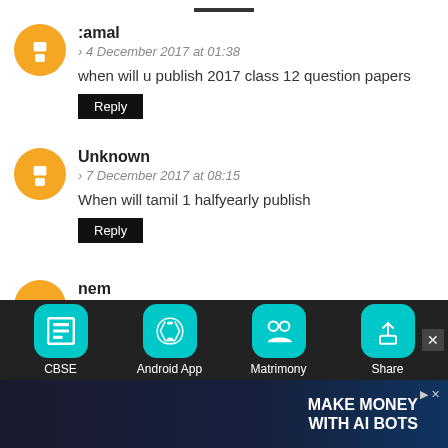— (top bar)
tamal
4 December 2017 at 01:38
when will u publish 2017 class 12 question papers
Reply
Unknown
7 December 2017 at 08:15
When will tamil 1 halfyearly publish
Reply
nem
11 December 2017 at 14:55
sir update t-2 and e-1 answers
[Figure (infographic): Bottom app toolbar with CBSE, Android App, Matrimony, Share icons and an advertisement banner saying MAKE MONEY WITH AI BOTS]